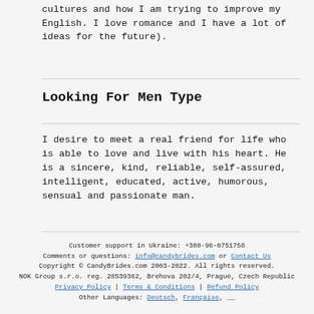cultures and how I am trying to improve my English. I love romance and I have a lot of ideas for the future).
Looking For Men Type
I desire to meet a real friend for life who is able to love and live with his heart. He is a sincere, kind, reliable, self-assured, intelligent, educated, active, humorous, sensual and passionate man.
Customer support in Ukraine: +380-96-0751758
Comments or questions: info@candybrides.com or Contact Us
Copyright © CandyBrides.com 2003-2022. All rights reserved. NOK Group s.r.o. reg. 28539362, Brehova 202/4, Prague, Czech Republic
Privacy Policy | Terms & Conditions | Refund Policy
Other Languages: Deutsch, Française, ...